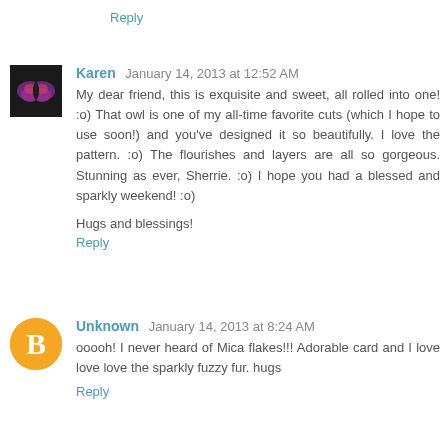Reply
Karen  January 14, 2013 at 12:52 AM
My dear friend, this is exquisite and sweet, all rolled into one! :o) That owl is one of my all-time favorite cuts (which I hope to use soon!) and you've designed it so beautifully. I love the pattern. :o) The flourishes and layers are all so gorgeous. Stunning as ever, Sherrie. :o) I hope you had a blessed and sparkly weekend! :o)

Hugs and blessings!
Reply
Unknown  January 14, 2013 at 8:24 AM
ooooh! I never heard of Mica flakes!!! Adorable card and I love love love the sparkly fuzzy fur. hugs
Reply